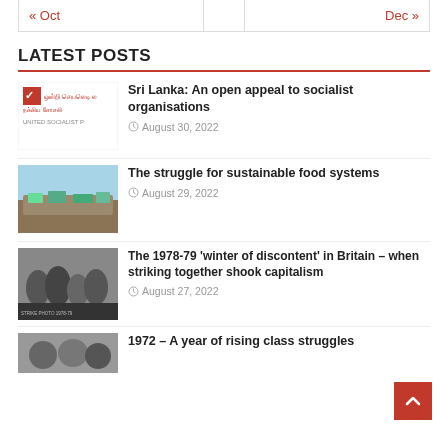| « Oct |  | Dec » |
LATEST POSTS
Sri Lanka: An open appeal to socialist organisations — August 30, 2022
The struggle for sustainable food systems — August 29, 2022
The 1978-79 'winter of discontent' in Britain – when striking together shook capitalism — August 27, 2022
1972 – A year of rising class struggles